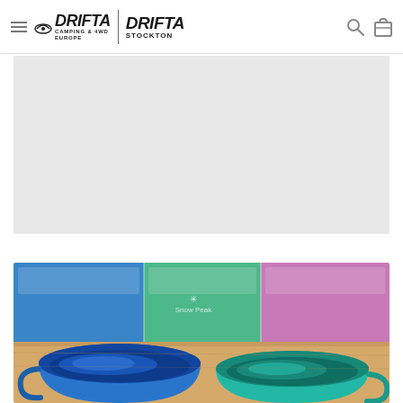Drifta Camping & 4WD Europe | Drifta Stockton
[Figure (other): Gray placeholder banner area below the header navigation]
[Figure (photo): Close-up photo of colorful anodized aluminum camping mugs (Snow Peak style) in blue and teal colors, with product boxes visible in the background showing blue, green and pink colors]